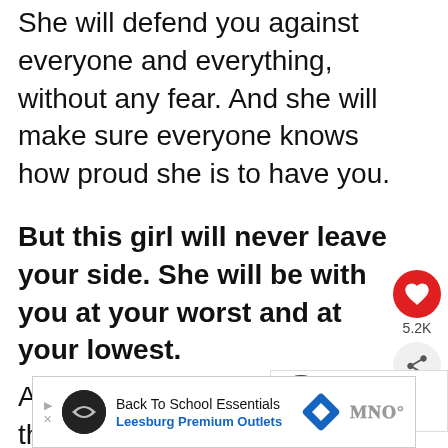She will defend you against everyone and everything, without any fear. And she will make sure everyone knows how proud she is to have you.
But this girl will never leave your side. She will be with you at your worst and at your lowest.
And she will always love you the same because her love for you will be unconditional.
[Figure (infographic): Red heart like button with count 5.2K and a share button below it]
[Figure (infographic): What's Next widget showing: To The Girl Grieving Th... with a small circular photo of a girl]
[Figure (infographic): Advertisement banner: Back To School Essentials, Leesburg Premium Outlets with logo and directional sign]